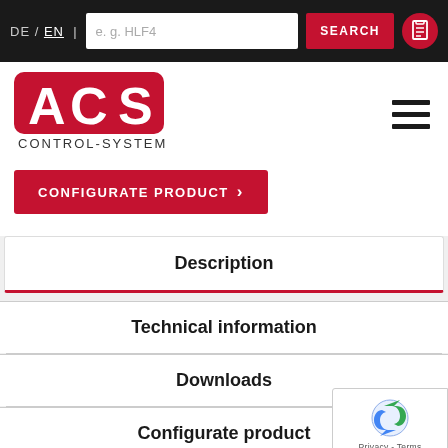DE / EN | e.g. HLF4 SEARCH
[Figure (logo): ACS Control-System logo in red with white text]
CONFIGURATE PRODUCT >
Description
Technical information
Downloads
Configurate product
[Figure (other): reCAPTCHA widget with Privacy - Terms text]